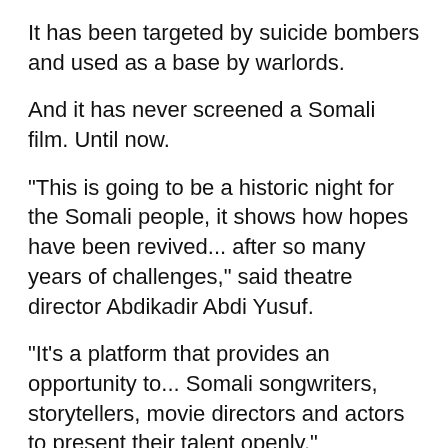It has been targeted by suicide bombers and used as a base by warlords.
And it has never screened a Somali film. Until now.
"This is going to be a historic night for the Somali people, it shows how hopes have been revived... after so many years of challenges," said theatre director Abdikadir Abdi Yusuf.
"It's a platform that provides an opportunity to... Somali songwriters, storytellers, movie directors and actors to present their talent openly."
The stage was set for the evening screening of two short films helmed by Somali director IBrahim CM -- "Hoos" and "Date from Hell" -- with tickets on sale for $10 (8.50 euros) each, an expensive price for many.
Although Mogadishu was home to many cinema halls